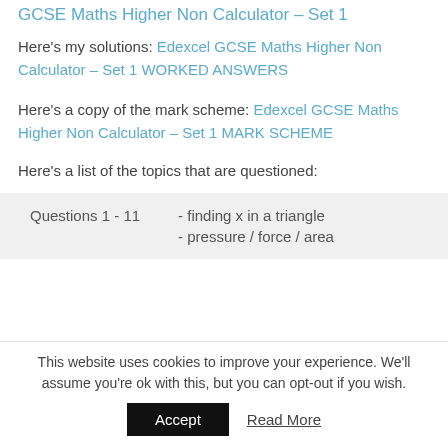GCSE Maths Higher Non Calculator – Set 1
Here's my solutions: Edexcel GCSE Maths Higher Non Calculator – Set 1 WORKED ANSWERS
Here's a copy of the mark scheme: Edexcel GCSE Maths Higher Non Calculator – Set 1 MARK SCHEME
Here's a list of the topics that are questioned:
| Questions 1 - 11 | - finding x in a triangle |
|  | - pressure / force / area |
This website uses cookies to improve your experience. We'll assume you're ok with this, but you can opt-out if you wish.